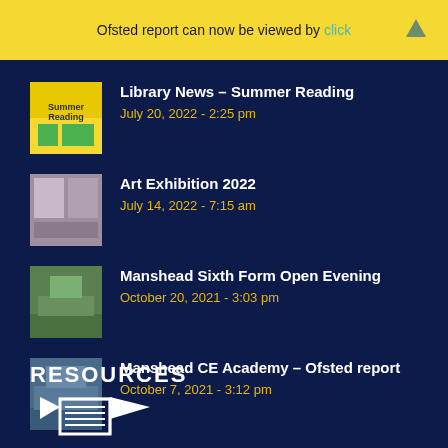Ofsted report can now be viewed by click
Library News – Summer Reading
July 20, 2022 - 2:25 pm
Art Exhibition 2022
July 14, 2022 - 7:15 am
Manshead Sixth Form Open Evening
October 20, 2021 - 3:03 pm
Manshead CE Academy – Ofsted report
October 7, 2021 - 3:12 pm
RESOURCES